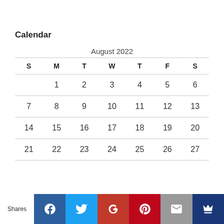Calendar
| S | M | T | W | T | F | S |
| --- | --- | --- | --- | --- | --- | --- |
|  | 1 | 2 | 3 | 4 | 5 | 6 |
| 7 | 8 | 9 | 10 | 11 | 12 | 13 |
| 14 | 15 | 16 | 17 | 18 | 19 | 20 |
| 21 | 22 | 23 | 24 | 25 | 26 | 27 |
Shares | Facebook | Twitter | Google+ | Pinterest | Email | Crown